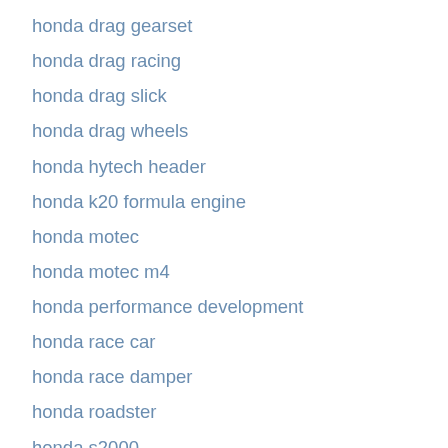honda drag gearset
honda drag racing
honda drag slick
honda drag wheels
honda hytech header
honda k20 formula engine
honda motec
honda motec m4
honda performance development
honda race car
honda race damper
honda roadster
honda s2000
honda sponsorship